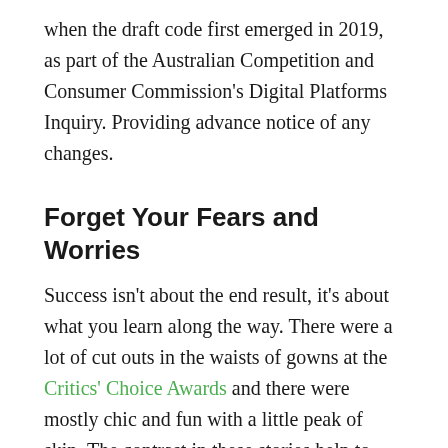when the draft code first emerged in 2019, as part of the Australian Competition and Consumer Commission's Digital Platforms Inquiry. Providing advance notice of any changes.
Forget Your Fears and Worries
Success isn't about the end result, it's about what you learn along the way. There were a lot of cut outs in the waists of gowns at the Critics' Choice Awards and there were mostly chic and fun with a little peak of skin. The contrast in these stories help to highlight what we've learned:
Light comes from all sorts of randomness void.
It's a blessing, but also a terrible defect sensational